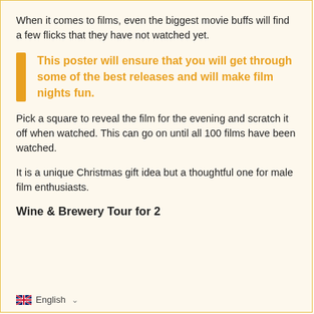When it comes to films, even the biggest movie buffs will find a few flicks that they have not watched yet.
This poster will ensure that you will get through some of the best releases and will make film nights fun.
Pick a square to reveal the film for the evening and scratch it off when watched. This can go on until all 100 films have been watched.
It is a unique Christmas gift idea but a thoughtful one for male film enthusiasts.
Wine & Brewery Tour for 2
English